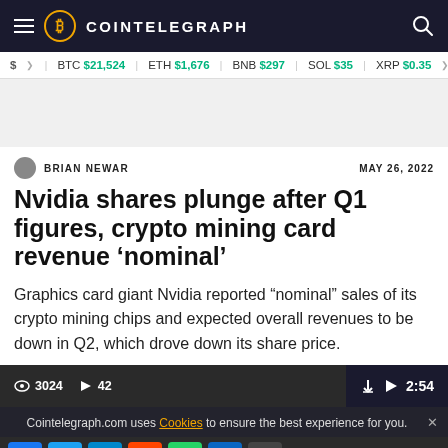COINTELEGRAPH
$ BTC $21,524 ETH $1,676 BNB $297 SOL $35 XRP $0.35
BRIAN NEWAR  MAY 26, 2022
Nvidia shares plunge after Q1 figures, crypto mining card revenue ‘nominal’
Graphics card giant Nvidia reported “nominal” sales of its crypto mining chips and expected overall revenues to be down in Q2, which drove down its share price.
3024  42  2:54
Cointelegraph.com uses Cookies to ensure the best experience for you.